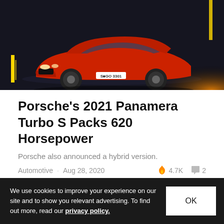[Figure (photo): Red Porsche Panamera shot from the front in a dark studio setting with orange and yellow lighting accents]
Porsche's 2021 Panamera Turbo S Packs 620 Horsepower
Porsche also announced a hybrid version.
Automotive · Aug 28, 2020   🔥 4.7K  💬 2
[Figure (photo): Woman with dark hair looking sideways, photographed near a window with greenery in background]
We use cookies to improve your experience on our site and to show you relevant advertising. To find out more, read our privacy policy.